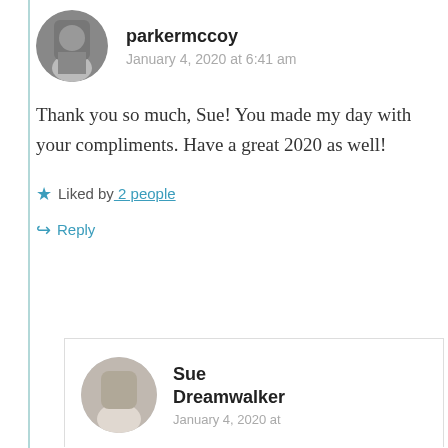parkermccoy
January 4, 2020 at 6:41 am
Thank you so much, Sue! You made my day with your compliments. Have a great 2020 as well!
★ Liked by 2 people
↪ Reply
Sue Dreamwalker
January 4, 2020 at